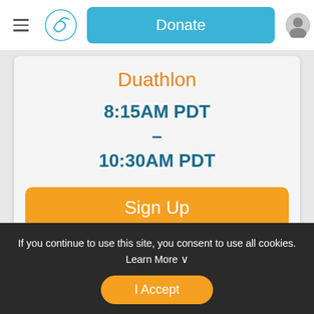Donate
Duathlon
8:15AM PDT
–
10:30AM PDT
Sign Up
Kids Race
If you continue to use this site, you consent to use all cookies. Learn More ∨
I Accept